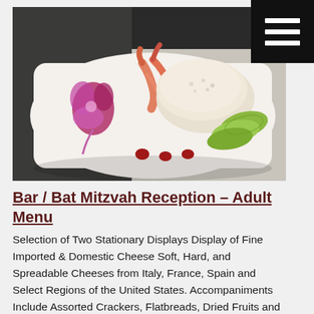[Figure (photo): An elegantly plated dish on a white square plate featuring crab or shrimp with claws, a mound of crab salad, sliced avocado, a purple orchid flower garnish, and three small red sauce dots.]
Bar / Bat Mitzvah Reception – Adult Menu
Selection of Two Stationary Displays Display of Fine Imported & Domestic Cheese Soft, Hard, and Spreadable Cheeses from Italy, France, Spain and Select Regions of the United States. Accompaniments Include Assorted Crackers, Flatbreads, Dried Fruits and Spreads Garden Fresh Vegetable Crudité Display Assorted Seasonal Vegetables Displayed with House-